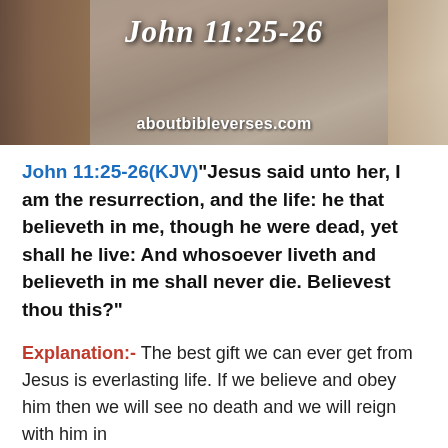[Figure (photo): Background image with text overlay showing 'John 11:25-26' in italic bold white font and 'aboutbibleverses.com' in white bold font on a photographic background of hands or a figure.]
John 11:25-26(KJV)“Jesus said unto her, I am the resurrection, and the life: he that believeth in me, though he were dead, yet shall he live: And whosoever liveth and believeth in me shall never die. Believest thou this?”
Explanation:- The best gift we can ever get from Jesus is everlasting life. If we believe and obey him then we will see no death and we will reign with him in